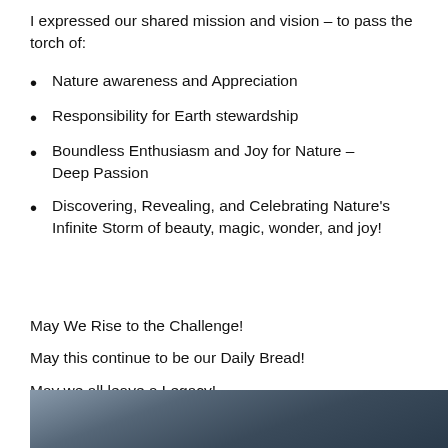I expressed our shared mission and vision – to pass the torch of:
Nature awareness and Appreciation
Responsibility for Earth stewardship
Boundless Enthusiasm and Joy for Nature – Deep Passion
Discovering, Revealing, and Celebrating Nature's Infinite Storm of beauty, magic, wonder, and joy!
May We Rise to the Challenge!
May this continue to be our Daily Bread!
May we all leave a Legacy!
[Figure (photo): Dark stormy sky with dramatic clouds, partial view at the bottom of the page]